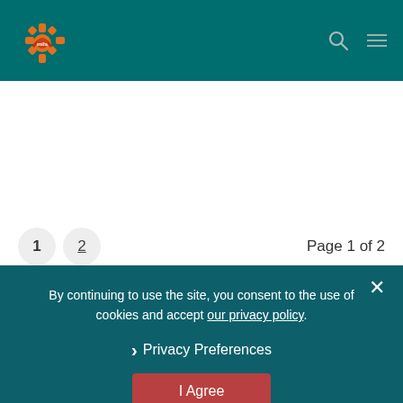Mills logo header with search and navigation
Page 1 of 2
By continuing to use the site, you consent to the use of cookies and accept our privacy policy.
Privacy Preferences
I Agree